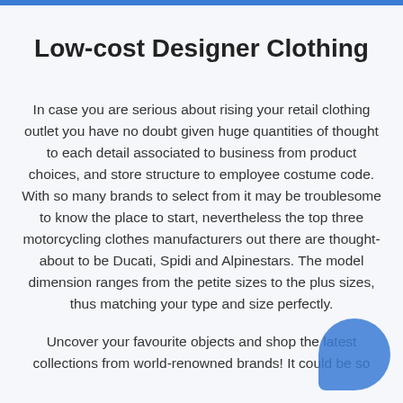Low-cost Designer Clothing
In case you are serious about rising your retail clothing outlet you have no doubt given huge quantities of thought to each detail associated to business from product choices, and store structure to employee costume code. With so many brands to select from it may be troublesome to know the place to start, nevertheless the top three motorcycling clothes manufacturers out there are thought-about to be Ducati, Spidi and Alpinestars. The model dimension ranges from the petite sizes to the plus sizes, thus matching your type and size perfectly.
Uncover your favourite objects and shop the latest collections from world-renowned brands! It could be so